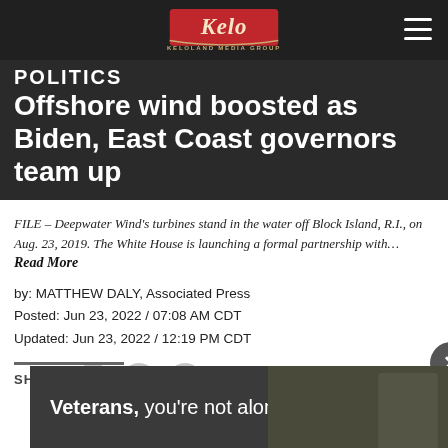KELOLAND MEDIA GROUP
POLITICS
Offshore wind boosted as Biden, East Coast governors team up
FILE – Deepwater Wind's turbines stand in the water off Block Island, R.I., on Aug. 23, 2019. The White House is launching a formal partnership with… Read More
by: MATTHEW DALY, Associated Press
Posted: Jun 23, 2022 / 07:08 AM CDT
Updated: Jun 23, 2022 / 12:19 PM CDT
SHARE
[Figure (screenshot): Ad banner: Veterans, you're not alone.]